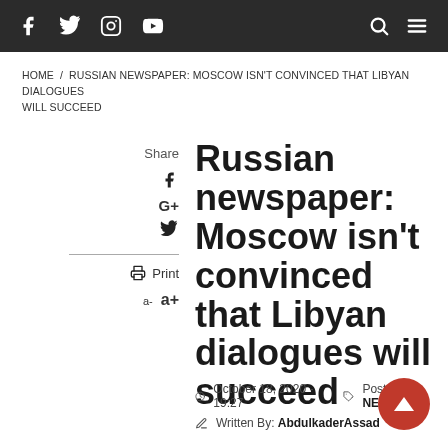Navigation bar with social icons (Facebook, Twitter, Instagram, YouTube) and search/menu icons
HOME / RUSSIAN NEWSPAPER: MOSCOW ISN'T CONVINCED THAT LIBYAN DIALOGUES WILL SUCCEED
Share
Russian newspaper: Moscow isn't convinced that Libyan dialogues will succeed
October 18, 2020 - 19:27   Posted in: NEWS
Written By: AbdulkaderAssad